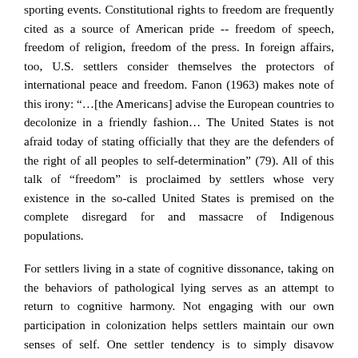sporting events. Constitutional rights to freedom are frequently cited as a source of American pride -- freedom of speech, freedom of religion, freedom of the press. In foreign affairs, too, U.S. settlers consider themselves the protectors of international peace and freedom. Fanon (1963) makes note of this irony: "...[the Americans] advise the European countries to decolonize in a friendly fashion... The United States is not afraid today of stating officially that they are the defenders of the right of all peoples to self-determination" (79). All of this talk of "freedom" is proclaimed by settlers whose very existence in the so-called United States is premised on the complete disregard for and massacre of Indigenous populations.
For settlers living in a state of cognitive dissonance, taking on the behaviors of pathological lying serves as an attempt to return to cognitive harmony. Not engaging with our own participation in colonization helps settlers maintain our own senses of self. One settler tendency is to simply disavow colonialism as something that we aren't a part of: "If it is somewhere else, it does not affect me" (Veracini 2015, 7).